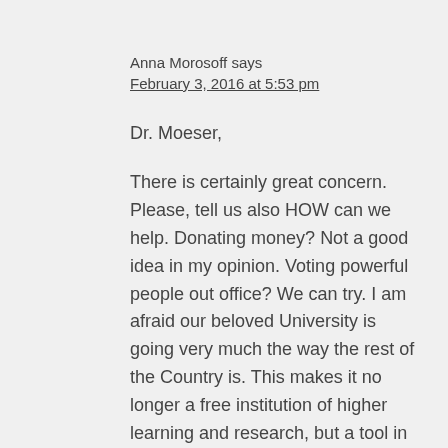Anna Morosoff says
February 3, 2016 at 5:53 pm
Dr. Moeser,
There is certainly great concern. Please, tell us also HOW can we help. Donating money? Not a good idea in my opinion. Voting powerful people out office? We can try. I am afraid our beloved University is going very much the way the rest of the Country is. This makes it no longer a free institution of higher learning and research, but a tool in the hands of our corporate owners.